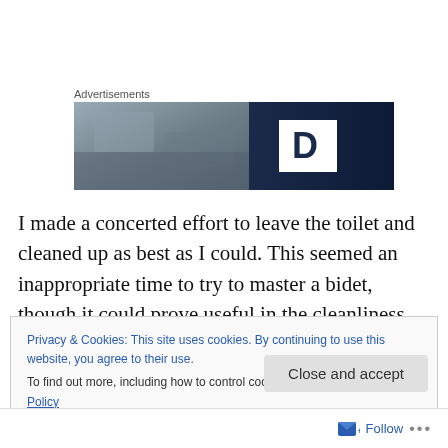Advertisements
[Figure (photo): Advertisement banner image showing a dark blue background with a large letter D in white, alongside a blurred indoor/outdoor scene photo on the left side.]
I made a concerted effort to leave the toilet and cleaned up as best as I could. This seemed an inappropriate time to try to master a bidet, though it could prove useful in the cleanliness department. In the pitch dark, how do you know if you are fully fresh down there? Still, not the time to
Privacy & Cookies: This site uses cookies. By continuing to use this website, you agree to their use.
To find out more, including how to control cookies, see here: Cookie Policy
Close and accept
Follow ...